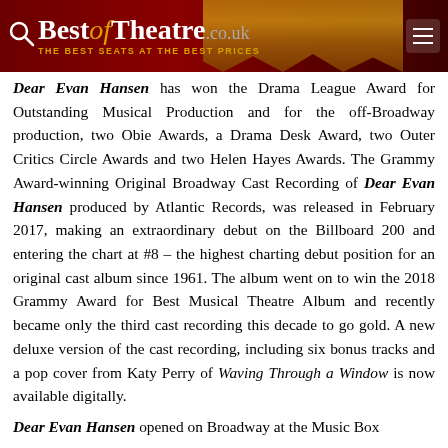BestofTheatre.co.uk — THE BEST SEATS AT THE BEST PRICES
Dear Evan Hansen has won the Drama League Award for Outstanding Musical Production and for the off-Broadway production, two Obie Awards, a Drama Desk Award, two Outer Critics Circle Awards and two Helen Hayes Awards. The Grammy Award-winning Original Broadway Cast Recording of Dear Evan Hansen produced by Atlantic Records, was released in February 2017, making an extraordinary debut on the Billboard 200 and entering the chart at #8 – the highest charting debut position for an original cast album since 1961. The album went on to win the 2018 Grammy Award for Best Musical Theatre Album and recently became only the third cast recording this decade to go gold. A new deluxe version of the cast recording, including six bonus tracks and a pop cover from Katy Perry of Waving Through a Window is now available digitally.
Dear Evan Hansen opened on Broadway at the Music Box